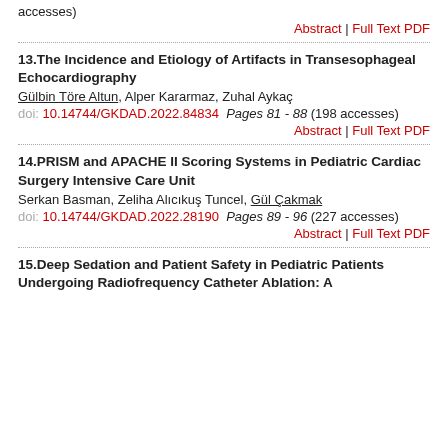accesses)
Abstract | Full Text PDF
13. The Incidence and Etiology of Artifacts in Transesophageal Echocardiography
Gülbin Töre Altun, Alper Kararmaz, Zuhal Aykaç
doi: 10.14744/GKDAD.2022.84834  Pages 81 - 88 (198 accesses)
Abstract | Full Text PDF
14. PRISM and APACHE II Scoring Systems in Pediatric Cardiac Surgery Intensive Care Unit
Serkan Basman, Zeliha Alıcıkuş Tuncel, Gül Çakmak
doi: 10.14744/GKDAD.2022.28190  Pages 89 - 96 (227 accesses)
Abstract | Full Text PDF
15. Deep Sedation and Patient Safety in Pediatric Patients Undergoing Radiofrequency Catheter Ablation: A